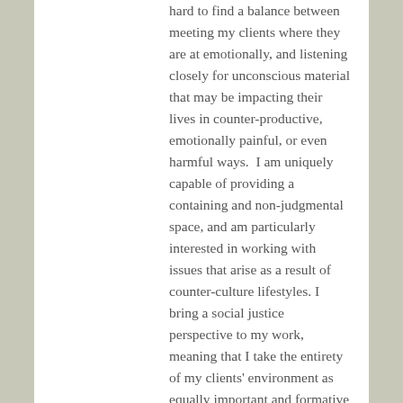hard to find a balance between meeting my clients where they are at emotionally, and listening closely for unconscious material that may be impacting their lives in counter-productive, emotionally painful, or even harmful ways.  I am uniquely capable of providing a containing and non-judgmental space, and am particularly interested in working with issues that arise as a result of counter-culture lifestyles. I bring a social justice perspective to my work, meaning that I take the entirety of my clients' environment as equally important and formative as their early childhood relationships and mental processes.
My areas of clinical interest and experience include: